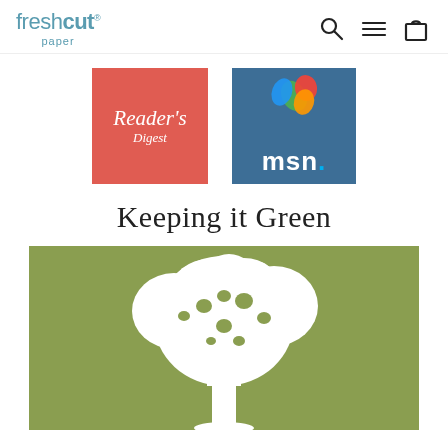freshcut paper — navigation with search, menu, and cart icons
[Figure (logo): Reader's Digest logo — red/salmon square background with italic serif white text]
[Figure (logo): MSN logo — dark blue/teal square background with colorful butterfly and white bold 'msn.' text]
Keeping it Green
[Figure (illustration): Green background with white silhouette of a large oak tree, centered]